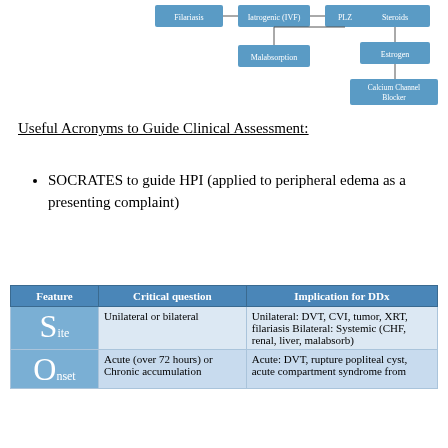[Figure (flowchart): Partial flowchart diagram at top of page showing drug/treatment categories including Filariasis, Iatrogenic (IVF), PLZ, Malabsorption, Steroids, Estrogen, Calcium Channel Blocker nodes connected by lines]
Useful Acronyms to Guide Clinical Assessment:
SOCRATES to guide HPI (applied to peripheral edema as a presenting complaint)
| Feature | Critical question | Implication for DDx |
| --- | --- | --- |
| Site | Unilateral or bilateral | Unilateral: DVT, CVI, tumor, XRT, filariasis Bilateral: Systemic (CHF, renal, liver, malabsorb) |
| Onset | Acute (over 72 hours) or Chronic accumulation | Acute: DVT, rupture popliteal cyst, acute compartment syndrome from |